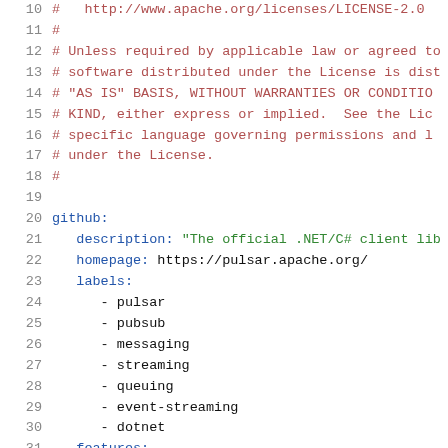Code snippet: Apache license comment and GitHub metadata YAML (lines 10-31)